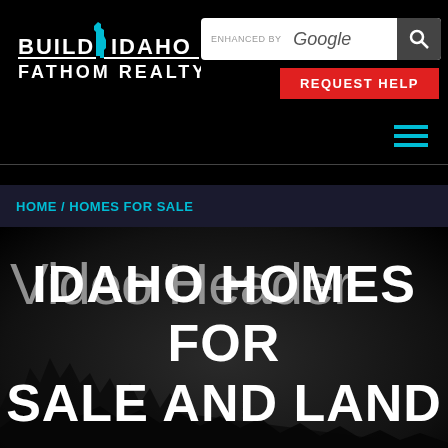[Figure (logo): Build Idaho Fathom Realty logo with Idaho state silhouette in cyan/teal color]
[Figure (screenshot): Google search bar with 'ENHANCED BY Google' text and search button]
REQUEST HELP
HOME / HOMES FOR SALE
Video Header
IDAHO HOMES FOR SALE AND LAND